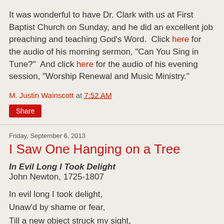It was wonderful to have Dr. Clark with us at First Baptist Church on Sunday, and he did an excellent job preaching and teaching God's Word.  Click here for the audio of his morning sermon, "Can You Sing in Tune?"  And click here for the audio of his evening session, "Worship Renewal and Music Ministry."
M. Justin Wainscott at 7:52 AM
Share
Friday, September 6, 2013
I Saw One Hanging on a Tree
In Evil Long I Took Delight
John Newton, 1725-1807
In evil long I took delight,
Unaw'd by shame or fear,
Till a new object struck my sight,